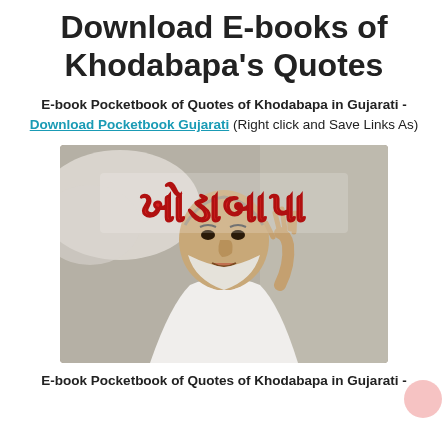Download E-books of Khodabapa's Quotes
E-book Pocketbook of Quotes of Khodabapa in Gujarati - Download Pocketbook Gujarati (Right click and Save Links As)
[Figure (photo): Photo of an elderly Indian man (Khodabapa) in a white sleeveless undershirt, raising one hand. Red Gujarati text 'ખોડાબાપા' displayed at top of image on a semi-transparent background.]
E-book Pocketbook of Quotes of Khodabapa in Gujarati -